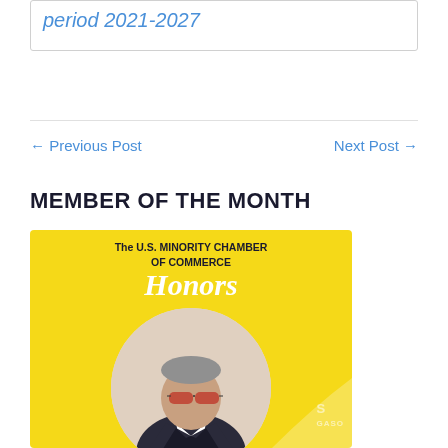period 2021-2027
← Previous Post
Next Post →
MEMBER OF THE MONTH
[Figure (photo): The U.S. Minority Chamber of Commerce Honors award graphic featuring a man in a suit with sunglasses on a yellow background]